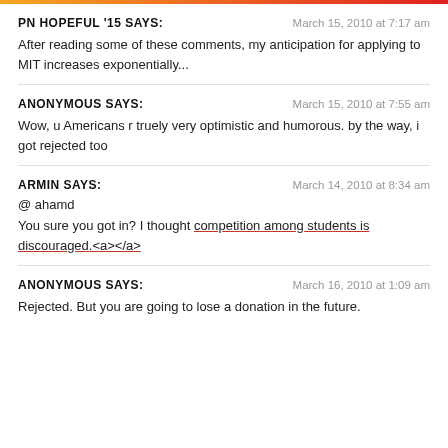PN HOPEFUL '15 SAYS:
March 15, 2010 at 7:17 am
After reading some of these comments, my anticipation for applying to MIT increases exponentially...
ANONYMOUS SAYS:
March 15, 2010 at 7:55 am
Wow, u Americans r truely very optimistic and humorous. by the way, i got rejected too
ARMIN SAYS:
March 14, 2010 at 8:34 am
@ ahamd
You sure you got in? I thought competition among students is discouraged.<a></a>
ANONYMOUS SAYS:
March 16, 2010 at 1:09 am
Rejected. But you are going to lose a donation in the future.